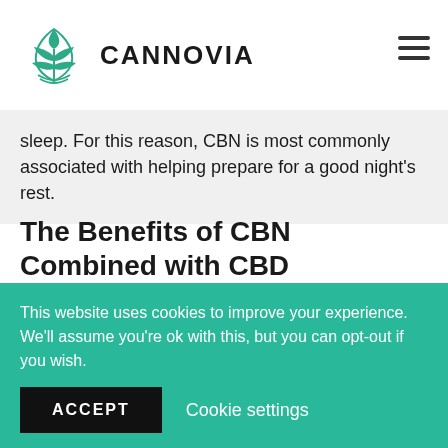CANNOVIA
sleep. For this reason, CBN is most commonly associated with helping prepare for a good night's rest.
The Benefits of CBN Combined with CBD
Both CBD and CBN offer wellness benefits that support a good night's rest. Both are non-psychoactive and, when consumed in unison, work together synergistically to help your body prepare for rest.
This website uses cookies to improve your experience. We'll assume you're ok with this, but you can opt-out if you wish.
ACCEPT   Cookie settings